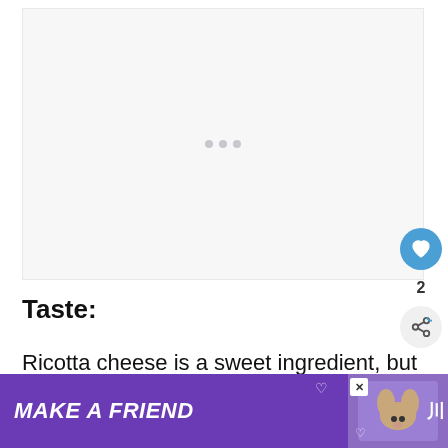[Figure (other): Light gray placeholder image area with three small gray dots indicating loading or carousel indicators]
Taste:
Ricotta cheese is a sweet ingredient, but th... any
[Figure (other): Purple advertisement banner reading MAKE A FRIEND with a dog image and close button]